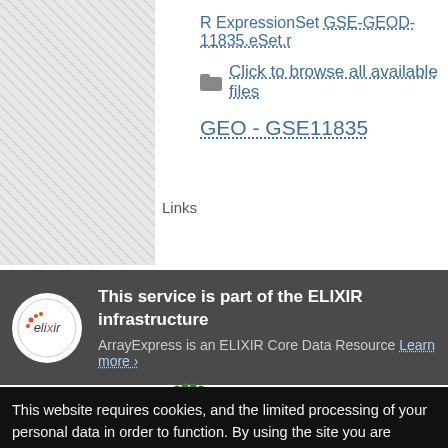[Figure (screenshot): Gray crosshatch placeholder image on the left side]
R ExpressionSet GSE-GEOD-11835.eSet.r
Click to browse all available files
Links
GEO - GSE11835
This service is part of the ELIXIR infrastructure
ArrayExpress is an ELIXIR Core Data Resource Learn more ›
[Figure (logo): EMBL-EBI logo with text and green dot grid]
Services
By topic
This website requires cookies, and the limited processing of your personal data in order to function. By using the site you are agreeing to this as outlined in our Privacy Notice and Terms of Use.
I agree, dismiss this banner